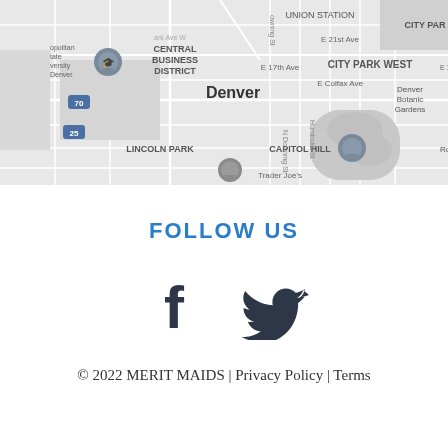[Figure (map): Google Maps style grayscale map of Denver, Colorado showing neighborhoods including Union Station, Central Business District, City Park West, Lincoln Park, Capitol Hill, Denver Botanic Gardens, Rose Medical area, and landmarks like Denver Zoo, Trader Joe's. Major streets labeled include E 21st Ave, E 17th Ave, E Colfax Ave, N Downing St, Humboldt St. Map pins visible near Metropolitan State University of Denver and Rose Medical area.]
FOLLOW US
[Figure (illustration): Facebook and Twitter social media icons in dark gray/charcoal color]
© 2022 MERIT MAIDS | Privacy Policy | Terms